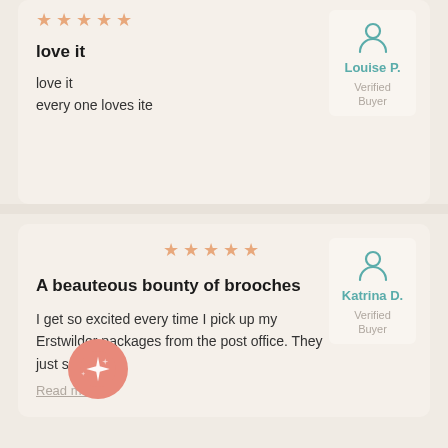[Figure (other): Five orange star rating icons]
love it
love it
every one loves ite
Louise P.
Verified Buyer
[Figure (other): Five orange star rating icons]
A beauteous bounty of brooches
I get so excited every time I pick up my Erstwilder packages from the post office. They just seem...
Katrina D.
Verified Buyer
Read more